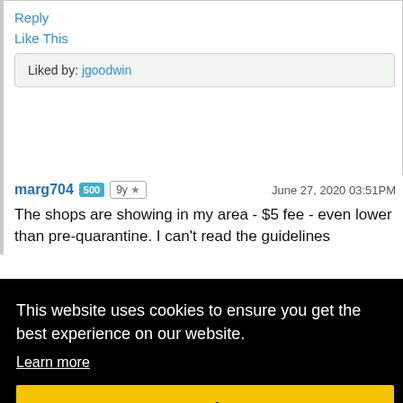Reply
Like This
Liked by: jgoodwin
marg704  500  9y ★  June 27, 2020 03:51PM
The shops are showing in my area - $5 fee - even lower than pre-quarantine. I can't read the guidelines
This website uses cookies to ensure you get the best experience on our website.
Learn more
Got it!
39PM
d,
make it a take out shop. The one near me has